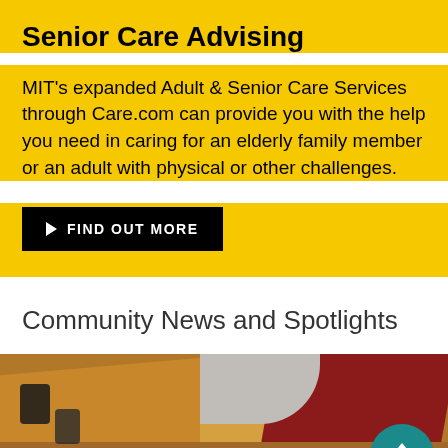Senior Care Advising
MIT's expanded Adult & Senior Care Services through Care.com can provide you with the help you need in caring for an elderly family member or an adult with physical or other challenges.
FIND OUT MORE
Community News and Spotlights
[Figure (photo): Overhead view of people sitting at tables in a communal space with warm wood tones, red wall accent, and a circular white architectural element]